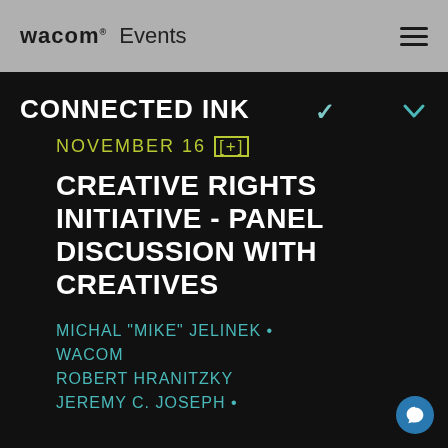wacom® Events
CONNECTED INK
NOVEMBER 16 [+]
CREATIVE RIGHTS INITIATIVE - PANEL DISCUSSION WITH CREATIVES
MICHAL "MIKE" JELINEK • WACOM
ROBERT HRANITZKY
JEREMY C. JOSEPH •